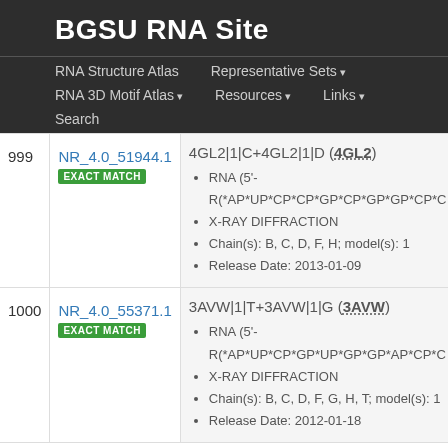BGSU RNA Site
RNA Structure Atlas | Representative Sets | RNA 3D Motif Atlas | Resources | Links | Search
| # | ID | Entry |
| --- | --- | --- |
| 999 | NR_4.0_51944.1
EXACT MATCH | 4GL2|1|C+4GL2|1|D (4GL2)
• RNA (5'-R(*AP*UP*CP*CP*GP*CP*GP*GP*CP*C
• X-RAY DIFFRACTION
• Chain(s): B, C, D, F, H; model(s): 1
• Release Date: 2013-01-09 |
| 1000 | NR_4.0_55371.1
EXACT MATCH | 3AVW|1|T+3AVW|1|G (3AVW)
• RNA (5'-R(*AP*UP*CP*GP*UP*GP*GP*AP*CP*C
• X-RAY DIFFRACTION
• Chain(s): B, C, D, F, G, H, T; model(s): 1
• Release Date: 2012-01-18 |